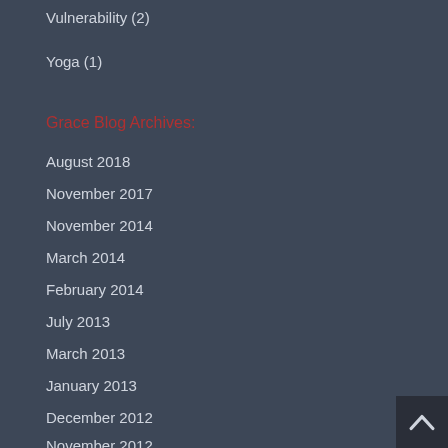Vulnerability (2)
Yoga (1)
Grace Blog Archives:
August 2018
November 2017
November 2014
March 2014
February 2014
July 2013
March 2013
January 2013
December 2012
November 2012